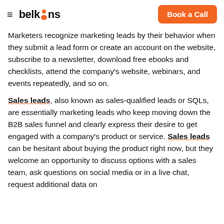belkins | Book a Call
Marketers recognize marketing leads by their behavior when they submit a lead form or create an account on the website, subscribe to a newsletter, download free ebooks and checklists, attend the company's website, webinars, and events repeatedly, and so on.
Sales leads, also known as sales-qualified leads or SQLs, are essentially marketing leads who keep moving down the B2B sales funnel and clearly express their desire to get engaged with a company's product or service. Sales leads can be hesitant about buying the product right now, but they welcome an opportunity to discuss options with a sales team, ask questions on social media or in a live chat, request additional data on